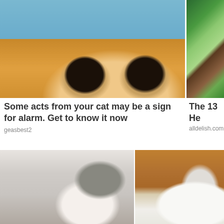[Figure (photo): Close-up photo of an orange tabby cat with teary eyes looking sad or concerned, with a blue background]
[Figure (photo): Photo of a bowl of food with broccoli and other vegetables, partially visible on the right edge]
Some acts from your cat may be a sign for alarm. Get to know it now
geasbest2
The 13 He
alldelish.com
[Figure (photo): Photo of a man leaning over a bathroom sink while a cat sits on his head, in a white tiled bathroom]
[Figure (photo): Photo of a glass jar tipped over with white powder spilling out onto a wooden surface]